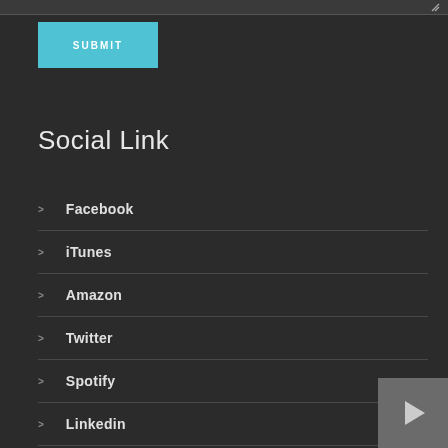[Figure (screenshot): Top strip of a dark-themed web form with a textarea resize handle visible at top right]
SUBMIT
Social Link
> Facebook
> iTunes
> Amazon
> Twitter
> Spotify
> Linkedin
> CDBaby